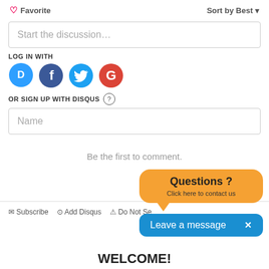♡ Favorite
Sort by Best ▾
Start the discussion…
LOG IN WITH
[Figure (illustration): Four social login icons: Disqus (blue chat bubble with D), Facebook (dark blue circle with f), Twitter (light blue circle with bird), Google (red circle with G)]
OR SIGN UP WITH DISQUS ?
Name
Be the first to comment.
✉ Subscribe  ⊙ Add Disqus  ⚠ Do Not Se…
[Figure (illustration): Orange speech bubble with text 'Questions ? Click here to contact us']
[Figure (illustration): Blue rounded rectangle with text 'Leave a message' and an X close button]
WELCOME!